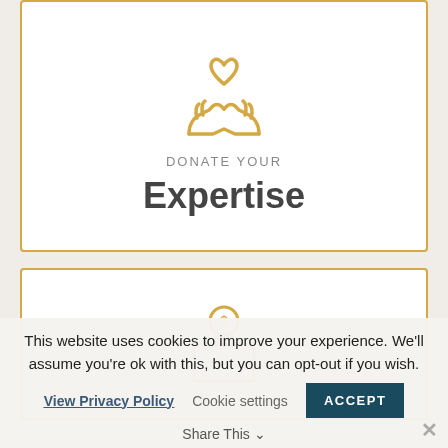[Figure (illustration): Golden/orange hands icon (cupped hands with heart shape) — donate expertise icon]
DONATE YOUR
Expertise
[Figure (illustration): Golden/orange coin being inserted into a donation box icon]
This website uses cookies to improve your experience. We'll assume you're ok with this, but you can opt-out if you wish.
View Privacy Policy   Cookie settings   ACCEPT
Share This